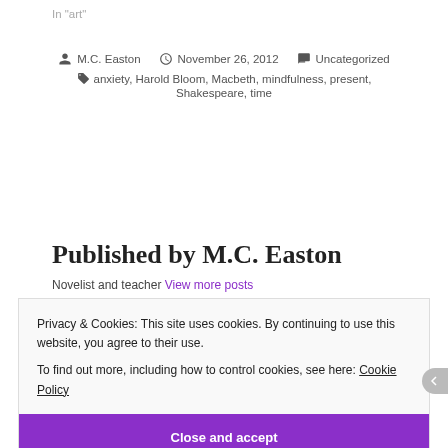In "art"
M.C. Easton  November 26, 2012  Uncategorized
anxiety, Harold Bloom, Macbeth, mindfulness, present, Shakespeare, time
Published by M.C. Easton
Novelist and teacher View more posts
Privacy & Cookies: This site uses cookies. By continuing to use this website, you agree to their use.
To find out more, including how to control cookies, see here: Cookie Policy
Close and accept